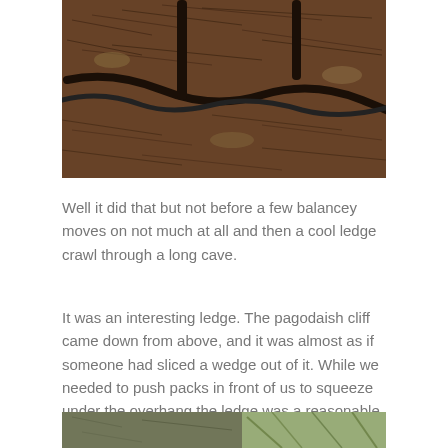[Figure (photo): Overhead view of forest floor showing tangled tree roots, pine needles, and fallen leaves in brown tones with two dark woody stems visible.]
Well it did that but not before a few balancey moves on not much at all and then a cool ledge crawl through a long cave.
It was an interesting ledge. The pagodaish cliff came down from above, and it was almost as if someone had sliced a wedge out of it. While we needed to push packs in front of us to squeeze under the overhang the ledge was a reasonable width for all but this one little bit.
[Figure (photo): Partial view of a rocky outdoor scene with vegetation, showing the bottom portion of a landscape photo.]